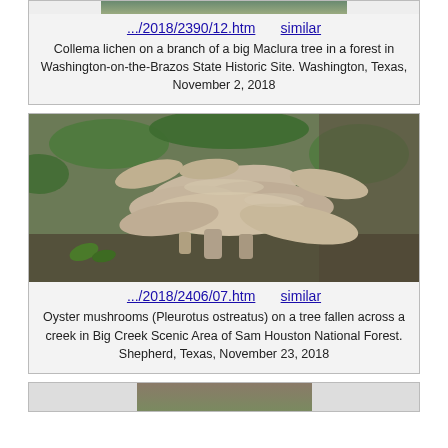[Figure (photo): Partial photo of Collema lichen on a branch (top portion cropped)]
.../2018/2390/12.htm    similar
Collema lichen on a branch of a big Maclura tree in a forest in Washington-on-the-Brazos State Historic Site. Washington, Texas, November 2, 2018
[Figure (photo): Oyster mushrooms (Pleurotus ostreatus) growing on a fallen tree trunk near a creek, mossy log, Big Creek Scenic Area]
.../2018/2406/07.htm    similar
Oyster mushrooms (Pleurotus ostreatus) on a tree fallen across a creek in Big Creek Scenic Area of Sam Houston National Forest. Shepherd, Texas, November 23, 2018
[Figure (photo): Partial photo (bottom of page, cropped)]